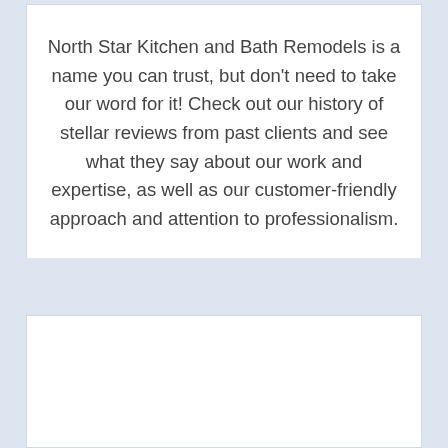North Star Kitchen and Bath Remodels is a name you can trust, but don't need to take our word for it! Check out our history of stellar reviews from past clients and see what they say about our work and expertise, as well as our customer-friendly approach and attention to professionalism.